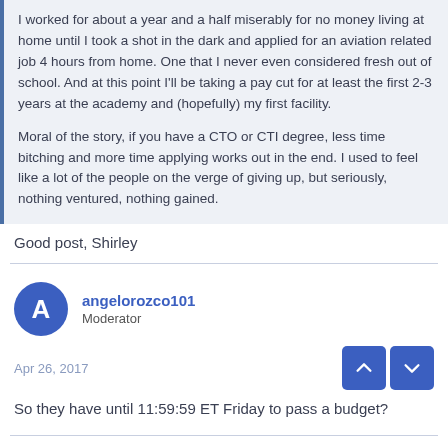I worked for about a year and a half miserably for no money living at home until I took a shot in the dark and applied for an aviation related job 4 hours from home. One that I never even considered fresh out of school. And at this point I'll be taking a pay cut for at least the first 2-3 years at the academy and (hopefully) my first facility.
Moral of the story, if you have a CTO or CTI degree, less time bitching and more time applying works out in the end. I used to feel like a lot of the people on the verge of giving up, but seriously, nothing ventured, nothing gained.
Good post, Shirley
angelorozco101
Moderator
Apr 26, 2017
So they have until 11:59:59 ET Friday to pass a budget?